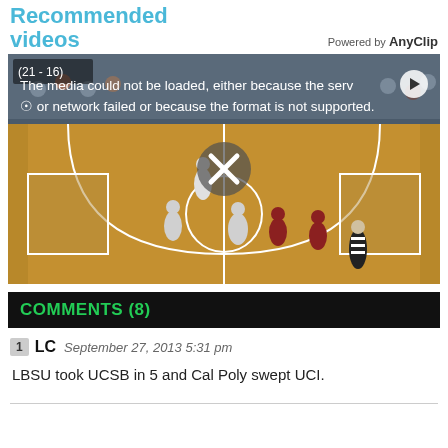Recommended videos
Powered by AnyClip
[Figure (photo): Basketball game video player showing an error message: 'The media could not be loaded, either because the server or network failed or because the format is not supported.' with a large X close icon over a basketball court scene with players and a referee.]
COMMENTS (8)
1 LC September 27, 2013 5:31 pm
LBSU took UCSB in 5 and Cal Poly swept UCI.